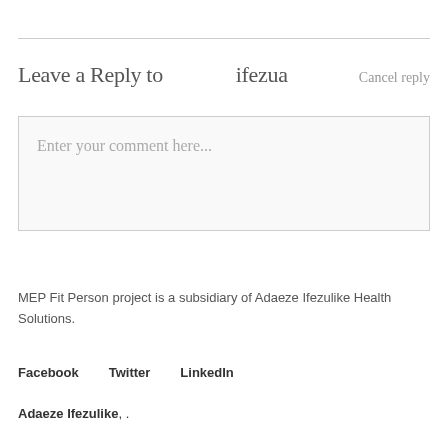Leave a Reply to ifezua Cancel reply
Enter your comment here...
MEP Fit Person project is a subsidiary of Adaeze Ifezulike Health Solutions.
Facebook Twitter LinkedIn
Adaeze Ifezulike, .